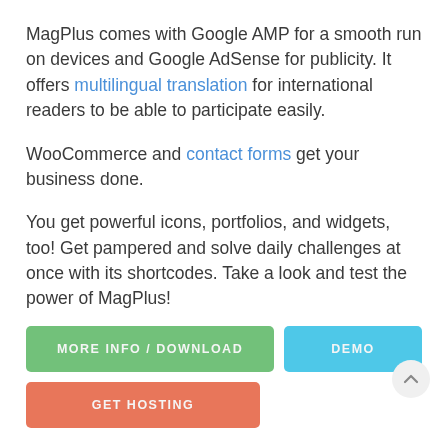MagPlus comes with Google AMP for a smooth run on devices and Google AdSense for publicity. It offers multilingual translation for international readers to be able to participate easily.
WooCommerce and contact forms get your business done.
You get powerful icons, portfolios, and widgets, too! Get pampered and solve daily challenges at once with its shortcodes. Take a look and test the power of MagPlus!
[Figure (other): Three call-to-action buttons: 'MORE INFO / DOWNLOAD' (green), 'DEMO' (blue), 'GET HOSTING' (orange-red), and a scroll-to-top circular button with an up chevron.]